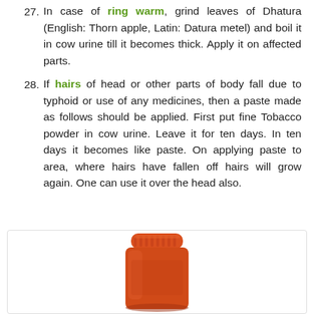27. In case of ring warm, grind leaves of Dhatura (English: Thorn apple, Latin: Datura metel) and boil it in cow urine till it becomes thick. Apply it on affected parts.
28. If hairs of head or other parts of body fall due to typhoid or use of any medicines, then a paste made as follows should be applied. First put fine Tobacco powder in cow urine. Leave it for ten days. In ten days it becomes like paste. On applying paste to area, where hairs have fallen off hairs will grow again. One can use it over the head also.
[Figure (photo): Photo of an orange/red bottle cap or small container, partially cropped at bottom of page, inside a bordered white box.]